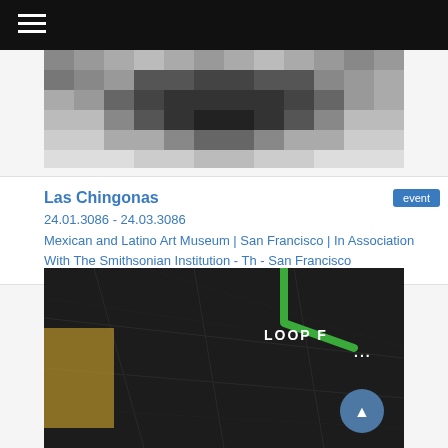[Figure (photo): Pixelated/blurred grayscale image at top of page showing some kind of art or logo]
Las Chingonas
24.01.3086 - 24.03.3086
Mexican and Latino Art Museum | San Francisco | In Association With The Smithsonian Institution - Th - San Francisco
[Figure (map): Dark satellite/map view showing streets including 'LOOP F...' text, with a green path/route highlighted and a blue circular arrow button in lower right]